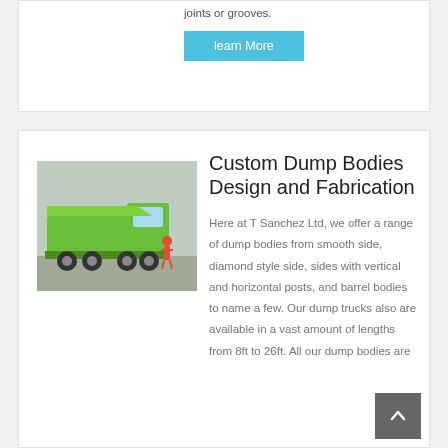joints or grooves.
learn More
[Figure (photo): A bright green dump truck parked in front of a building, with a person in red standing nearby]
Custom Dump Bodies Design and Fabrication
Here at T Sanchez Ltd, we offer a range of dump bodies from smooth side, diamond style side, sides with vertical and horizontal posts, and barrel bodies to name a few. Our dump trucks also are available in a vast amount of lengths from 8ft to 26ft. All our dump bodies are